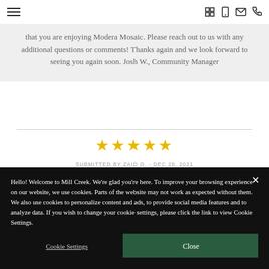Navigation header with hamburger menu and icons
that you are enjoying Modera Mosaic. Please reach out to us with any additional questions or comments! Thanks again and we look forward to seeing you again soon. Josh W., Community Manager
[Figure (other): Five gold star rating]
SUBMITTED BY ZAID O. - DEC 28, 2021
Hello! Welcome to Mill Creek. We're glad you're here. To improve your browsing experience on our website, we use cookies. Parts of the website may not work as expected without them. We also use cookies to personalize content and ads, to provide social media features and to analyze data. If you wish to change your cookie settings, please click the link to view Cookie Settings.
Cookie Settings
Close